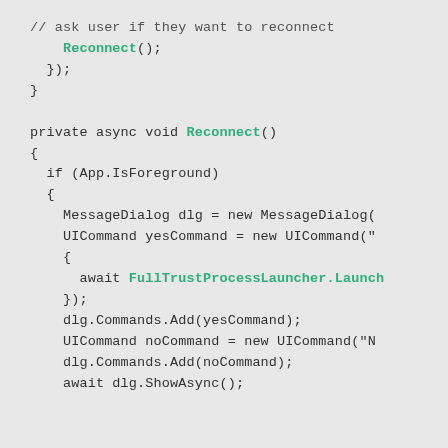// ask user if they want to reconnect
    Reconnect();
  });
}

private async void Reconnect()
{
  if (App.IsForeground)
  {
    MessageDialog dlg = new MessageDialog(
    UICommand yesCommand = new UICommand("
    {
      await FullTrustProcessLauncher.Launch
    });
    dlg.Commands.Add(yesCommand);
    UICommand noCommand = new UICommand("N
    dlg.Commands.Add(noCommand);
    await dlg.ShowAsync();